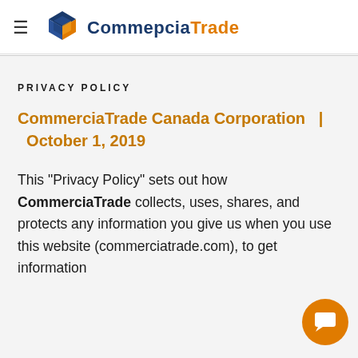≡  CommerciaTrade
PRIVACY POLICY
CommerciaTrade Canada Corporation  |  October 1, 2019
This "Privacy Policy" sets out how CommerciaTrade collects, uses, shares, and protects any information you give us when you use this website (commerciatrade.com), to get information